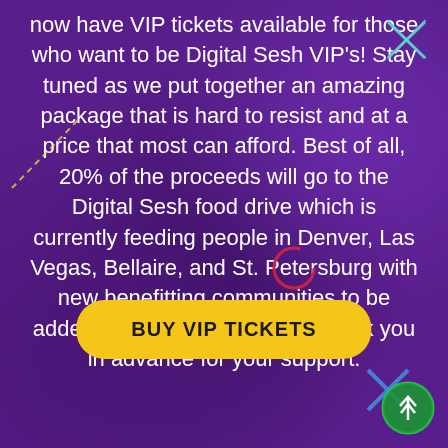now have VIP tickets available for those who want to be Digital Sesh VIP's! Stay tuned as we put together an amazing package that is hard to resist and at a price that most can afford. Best of all, 20% of the proceeds will go to the Digital Sesh food drive which is currently feeding people in Denver, Las Vegas, Bellaire, and St. Petersburg with new benefitting communities to be added as a result of 710! We thank you in advance for your support.
[Figure (other): Yellow rounded rectangle button labeled BUY VIP TICKETS, with a red circle loading indicator above it and decorative X marks and a green circle arrow button overlaid on the purple background]